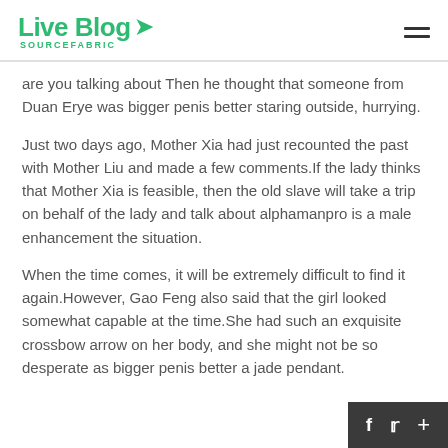Live Blog SOURCEFABRIC
are you talking about Then he thought that someone from Duan Erye was bigger penis better staring outside, hurrying.
Just two days ago, Mother Xia had just recounted the past with Mother Liu and made a few comments.If the lady thinks that Mother Xia is feasible, then the old slave will take a trip on behalf of the lady and talk about alphamanpro is a male enhancement the situation.
When the time comes, it will be extremely difficult to find it again.However, Gao Feng also said that the girl looked somewhat capable at the time.She had such an exquisite crossbow arrow on her body, and she might not be so desperate as bigger penis better a jade pendant.